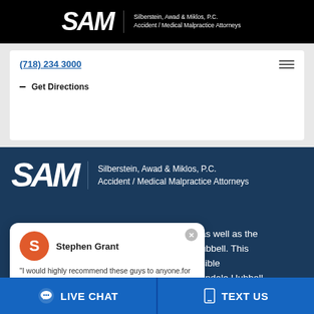SAM — Silberstein, Awad & Miklos, P.C. Accident / Medical Malpractice Attorneys
(718) 234 3000
Get Directions
[Figure (logo): SAM logo with text: Silberstein, Awad & Miklos, P.C. Accident / Medical Malpractice Attorneys on dark blue background]
Stephen Grant — "I would highly recommend these guys to anyone for their great service ,professionalism and efficiency." (5 stars)
as well as the hubbell. This ible tindale Hubbell
LIVE CHAT   TEXT US